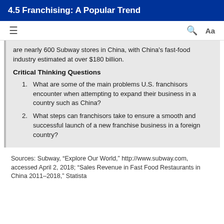4.5 Franchising: A Popular Trend
are nearly 600 Subway stores in China, with China’s fast-food industry estimated at over $180 billion.
Critical Thinking Questions
What are some of the main problems U.S. franchisors encounter when attempting to expand their business in a country such as China?
What steps can franchisors take to ensure a smooth and successful launch of a new franchise business in a foreign country?
Sources: Subway, “Explore Our World,” http://www.subway.com, accessed April 2, 2018; “Sales Revenue in Fast Food Restaurants in China 2011–2018,” Statista